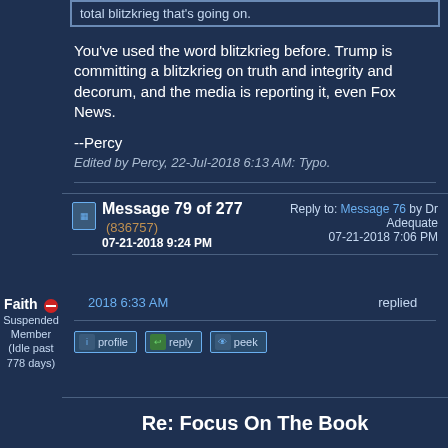total blitzkrieg that's going on.
You've used the word blitzkrieg before. Trump is committing a blitzkrieg on truth and integrity and decorum, and the media is reporting it, even Fox News.
--Percy
Edited by Percy, 22-Jul-2018 6:13 AM: Typo.
This message is a reply to:
Message 55 by Faith, posted 07-21-2018 5:29 PM
Faith has replied
Replies to this message:
Message 83 by Faith, posted 07-22-2018 6:33 AM
Percy has replied
Faith
Suspended Member (Idle past 778 days)
Message 79 of 277 (836757) 07-21-2018 9:24 PM
Reply to: Message 76 by Dr Adequate 07-21-2018 7:06 PM
Re: Focus On The Book